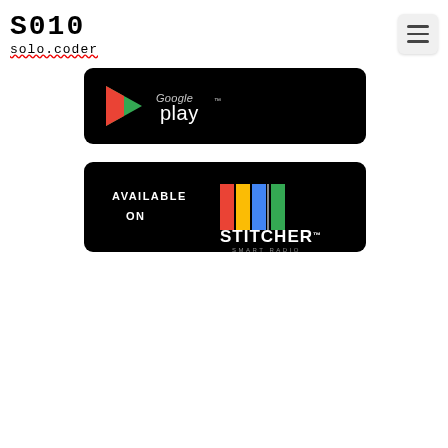S010 solo.coder — navigation logo and menu button
[Figure (logo): Google Play badge: black rounded rectangle with Google Play triangle logo and 'Google play' text in white]
[Figure (logo): Stitcher Smart Radio badge: black rounded rectangle with 'AVAILABLE ON' text on left and multicolor Stitcher logo with 'STITCHER SMART RADIO' text on right]